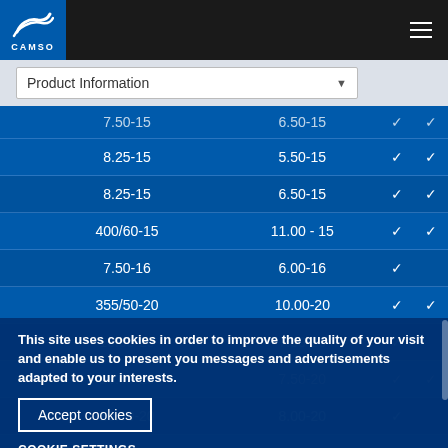CAMSO
Product Information
| Tire Size | Rim Size | Col3 | Col4 |
| --- | --- | --- | --- |
| 7.50-15 | 6.50-15 | ✓ | ✓ |
| 8.25-15 | 5.50-15 | ✓ | ✓ |
| 8.25-15 | 6.50-15 | ✓ | ✓ |
| 400/60-15 | 11.00 - 15 | ✓ | ✓ |
| 7.50-16 | 6.00-16 | ✓ |  |
| 355/50-20 | 10.00-20 | ✓ | ✓ |
| 10.00-20 | 7.00-20 | ✓ |  |
| 10.00-20 | 7.50-20 | ✓ | ✓ |
| 10.00-20 | 8.00-20 | ✓ |  |
This site uses cookies in order to improve the quality of your visit and enable us to present you messages and advertisements adapted to your interests.
Accept cookies
COOKIE SETTINGS